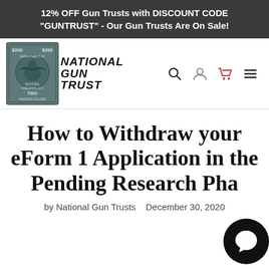12% OFF Gun Trusts with DISCOUNT CODE "GUNTRUST" - Our Gun Trusts Are On Sale!
[Figure (logo): National Gun Trust logo featuring NFA $200 stamp image and bold italic stacked text reading NATIONAL GUN TRUST]
How to Withdraw your eForm 1 Application in the Pending Research Phase
by National Gun Trusts   December 30, 2020